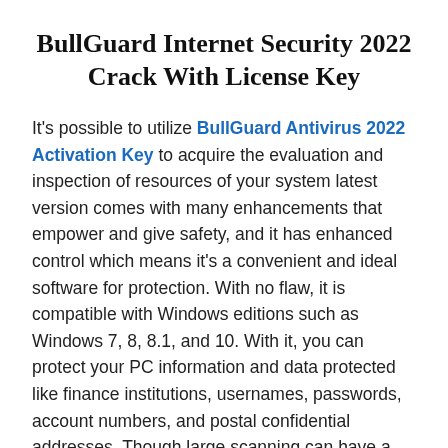BullGuard Internet Security 2022 Crack With License Key
It's possible to utilize BullGuard Antivirus 2022 Activation Key to acquire the evaluation and inspection of resources of your system latest version comes with many enhancements that empower and give safety, and it has enhanced control which means it's a convenient and ideal software for protection. With no flaw, it is compatible with Windows editions such as Windows 7, 8, 8.1, and 10. With it, you can protect your PC information and data protected like finance institutions, usernames, passwords, account numbers, and postal confidential addresses. Though large scanning can have a small effect on the functionality of the PC, it employs behaviour detection techniques for